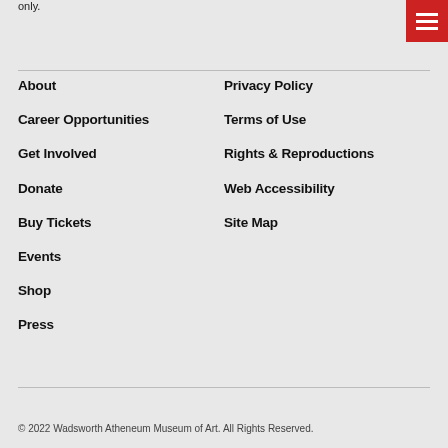only.
About
Privacy Policy
Career Opportunities
Terms of Use
Get Involved
Rights & Reproductions
Donate
Web Accessibility
Buy Tickets
Site Map
Events
Shop
Press
© 2022 Wadsworth Atheneum Museum of Art. All Rights Reserved.